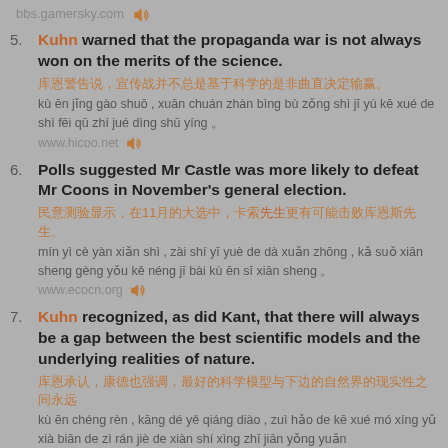bbs.gamersky.com 🔊
5. Kuhn warned that the propaganda war is not always won on the merits of the science.
[Chinese characters]
kù ēn jǐng gào shuō , xuān chuán zhàn bìng bù zǒng shì jī yú kē xué de shì fēi qū zhí jué dìng shū yíng 。
www.hicoo.net 🔊
6. Polls suggested Mr Castle was more likely to defeat Mr Coons in November's general election.
[Chinese characters]
mín yì cè yàn xiǎn shì , zài shí yī yuè de dà xuǎn zhōng , kǎ suǒ xiān sheng gèng yǒu kě néng jī bài kù ēn sī xiān sheng 。
www.ecocn.org 🔊
7. Kuhn recognized, as did Kant, that there will always be a gap between the best scientific models and the underlying realities of nature.
[Chinese characters]
kù ēn chéng rèn , kāng dé yě qiáng diào , zuì hǎo de kē xué mó xíng yǔ xià biān de zì rán jiè de xiàn shí xìng zhī jiān yǒng yuǎn